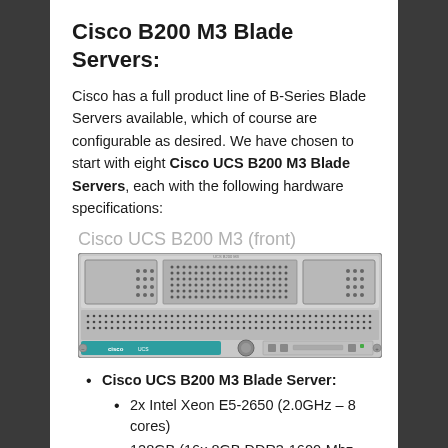Cisco B200 M3 Blade Servers:
Cisco has a full product line of B-Series Blade Servers available, which of course are configurable as desired. We have chosen to start with eight Cisco UCS B200 M3 Blade Servers, each with the following hardware specifications:
Cisco UCS B200 M3 (front)
[Figure (illustration): Front panel view of Cisco UCS B200 M3 blade server showing drive bays, perforated ventilation grilles, LED indicators, Cisco logo, and teal colored pull handle on a gray chassis.]
Cisco UCS B200 M3 Blade Server:
2x Intel Xeon E5-2650 (2.0GHz – 8 cores)
128GB (16x 8GB DDR3-1600-Mhz RDIMM)